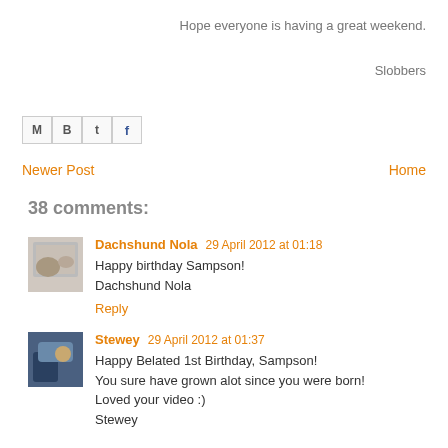Hope everyone is having a great weekend.
Slobbers
[Figure (other): Social share icons: email (M), blogger (B), twitter (t), facebook (f)]
Newer Post
Home
38 comments:
Dachshund Nola  29 April 2012 at 01:18
Happy birthday Sampson!
Dachshund Nola
Reply
Stewey  29 April 2012 at 01:37
Happy Belated 1st Birthday, Sampson!
You sure have grown alot since you were born!
Loved your video :)
Stewey